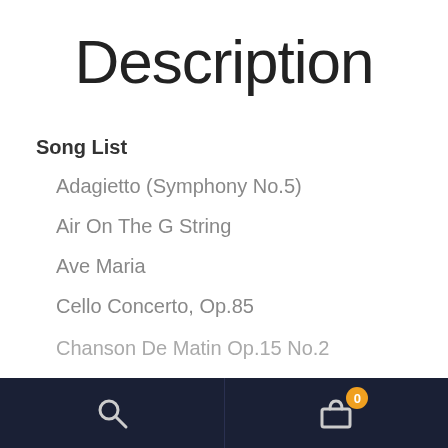Description
Song List
Adagietto (Symphony No.5)
Air On The G String
Ave Maria
Cello Concerto, Op.85
Chanson De Matin Op.15 No.2
Search | Cart 0